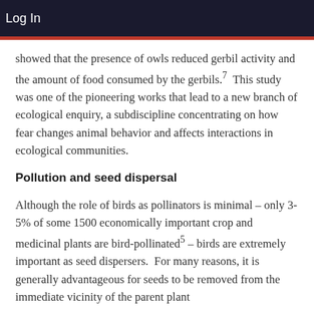Log In
showed that the presence of owls reduced gerbil activity and the amount of food consumed by the gerbils.7  This study was one of the pioneering works that lead to a new branch of ecological enquiry, a subdiscipline concentrating on how fear changes animal behavior and affects interactions in ecological communities.
Pollution and seed dispersal
Although the role of birds as pollinators is minimal – only 3-5% of some 1500 economically important crop and medicinal plants are bird-pollinated5 – birds are extremely important as seed dispersers.  For many reasons, it is generally advantageous for seeds to be removed from the immediate vicinity of the parent plant